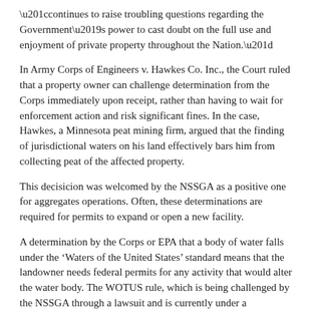“continues to raise troubling questions regarding the Government’s power to cast doubt on the full use and enjoyment of private property throughout the Nation.”
In Army Corps of Engineers v. Hawkes Co. Inc., the Court ruled that a property owner can challenge determination from the Corps immediately upon receipt, rather than having to wait for enforcement action and risk significant fines. In the case, Hawkes, a Minnesota peat mining firm, argued that the finding of jurisdictional waters on his land effectively bars him from collecting peat of the affected property.
This decisicion was welcomed by the NSSGA as a positive one for aggregates operations. Often, these determinations are required for permits to expand or open a new facility.
A determination by the Corps or EPA that a body of water falls under the ‘Waters of the United States’ standard means that the landowner needs federal permits for any activity that would alter the water body. The WOTUS rule, which is being challenged by the NSSGA through a lawsuit and is currently under a nationwide stay, would significantly increase the number of waters subject to Clean Water Act requirements. The key dispute in the Hawkes case was whether a jurisdictional determination carries legal consequences.